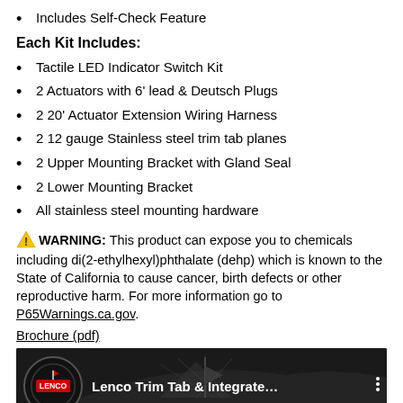Includes Self-Check Feature
Each Kit Includes:
Tactile LED Indicator Switch Kit
2 Actuators with 6' lead & Deutsch Plugs
2 20' Actuator Extension Wiring Harness
2 12 gauge Stainless steel trim tab planes
2 Upper Mounting Bracket with Gland Seal
2 Lower Mounting Bracket
All stainless steel mounting hardware
⚠ WARNING: This product can expose you to chemicals including di(2-ethylhexyl)phthalate (dehp) which is known to the State of California to cause cancer, birth defects or other reproductive harm. For more information go to P65Warnings.ca.gov.
Brochure (pdf)
[Figure (screenshot): Video thumbnail for 'Lenco Trim Tab & Integrate…' showing the Lenco logo on a dark background with a boat image]